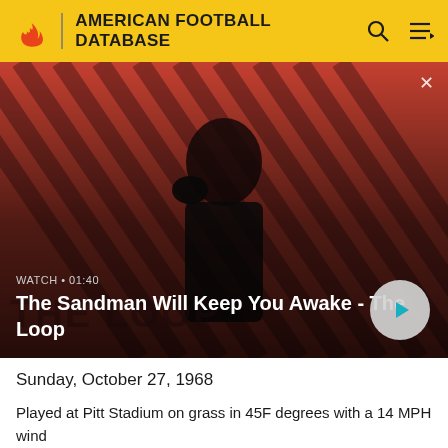AMERICAN FOOTBALL DATABASE
[Figure (photo): Promotional banner image showing a dark-clad figure with a bird on shoulder against a red diagonal striped background. Shows 'WATCH • 01:40' and title 'The Sandman Will Keep You Awake - The Loop' with a play button.]
Sunday, October 27, 1968
Played at Pitt Stadium on grass in 45F degrees with a 14 MPH wind
|  | 1 | 2 | 3 | 4 | Total |
| --- | --- | --- | --- | --- | --- |